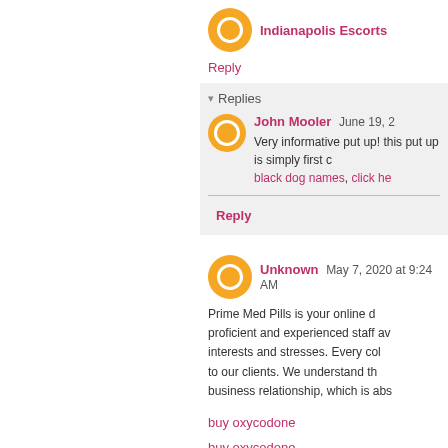Indianapolis Escorts
Reply
Replies
John Mooler  June 19, 2
Very informative put up! this put up is simply first class. black dog names, click he
Reply
Unknown  May 7, 2020 at 9:24 AM
Prime Med Pills is your online dr proficient and experienced staff av interests and stresses. Every coll to our clients. We understand th business relationship, which is abs
buy oxycodone
buy oxycodone